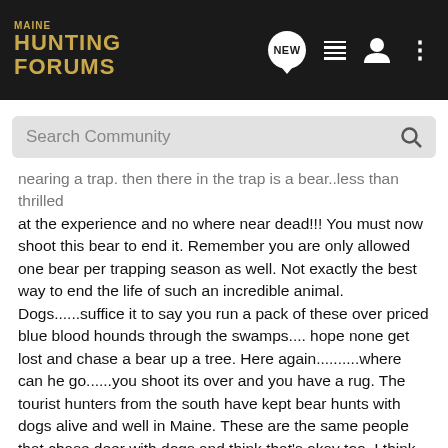MAINE HUNTING FORUMS
Search Community
nearing a trap. then there in the trap is a bear..less than thrilled at the experience and no where near dead!!! You must now shoot this bear to end it. Remember you are only allowed one bear per trapping season as well. Not exactly the best way to end the life of such an incredible animal. Dogs......suffice it to say you run a pack of these over priced blue blood hounds through the swamps.... hope none get lost and chase a bear up a tree. Here again..........where can he go......you shoot its over and you have a rug. The tourist hunters from the south have kept bear hunts with dogs alive and well in Maine. These are the same people that chase deer with dogs and think that's okay too. I think it's time to rethink our bear strategies and unite as hunters and trappers. Eliminating the obviously cruel..........shows we have souls and really do love what God gave us.